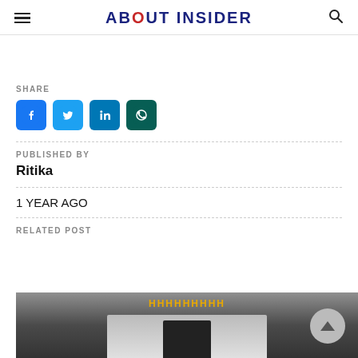ABOUT INSIDER
SHARE
[Figure (infographic): Social share icons: Facebook (blue), Twitter (light blue), LinkedIn (blue), WhatsApp (dark green)]
PUBLISHED BY
Ritika
1 YEAR AGO
RELATED POST
[Figure (photo): Related post thumbnail image with dark background and golden yellow text partially visible at top]